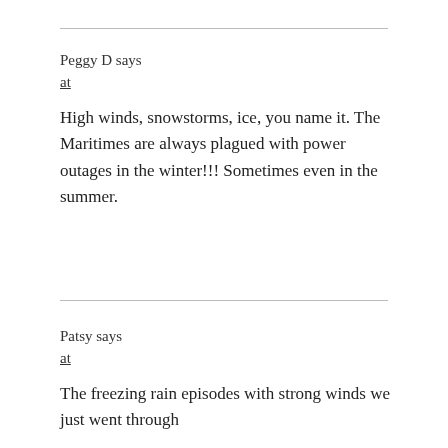Peggy D says
at
High winds, snowstorms, ice, you name it. The Maritimes are always plagued with power outages in the winter!!! Sometimes even in the summer.
Patsy says
at
The freezing rain episodes with strong winds we just went through